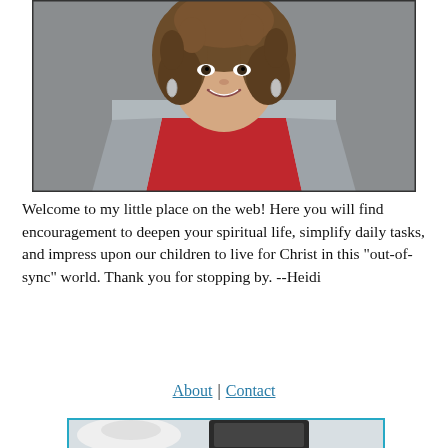[Figure (photo): Portrait photo of a woman with curly hair, wearing a red shirt and grey cardigan, smiling, with teardrop earrings, against a grey background.]
Welcome to my little place on the web! Here you will find encouragement to deepen your spiritual life, simplify daily tasks, and impress upon our children to live for Christ in this "out-of-sync" world. Thank you for stopping by. --Heidi
About | Contact
[Figure (photo): Partial photo of a coffee mug and a tablet/e-reader device on a light surface, partially visible at the bottom of the page.]